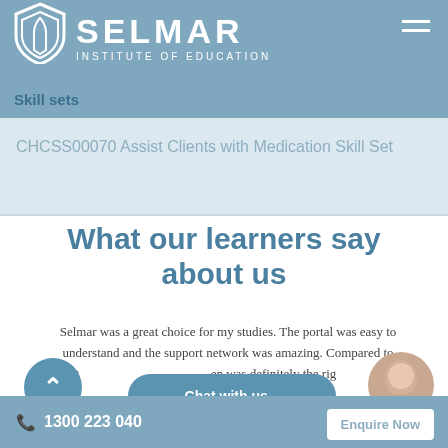SELMAR INSTITUTE OF EDUCATION
Skill sets
CHCSS00070 Assist Clients with Medication Skill Set
What our learners say about us
Selmar was a great choice for my studies. The portal was easy to understand and the support network was amazing. Compared to other providers, Selmar was definitely the right choice.
Chat with us...
1300 223 040   Enquire Now